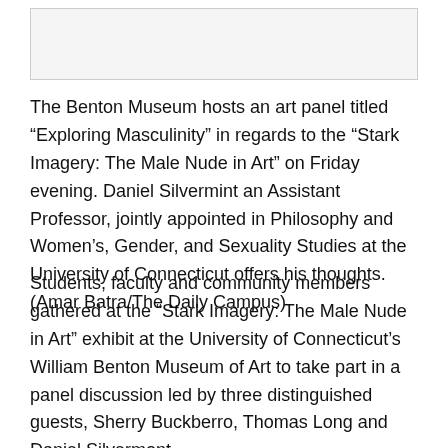[Figure (photo): Photo placeholder of art panel event at Benton Museum]
The Benton Museum hosts an art panel titled “Exploring Masculinity” in regards to the “Stark Imagery: The Male Nude in Art” on Friday evening. Daniel Silvermint an Assistant Professor, jointly appointed in Philosophy and Women’s, Gender, and Sexuality Studies at the University of Connecticut offers his thoughts. (Amar Batra/The Daily Campus)
Students, faculty and community members gathered at the “Stark Imagery: The Male Nude in Art” exhibit at the University of Connecticut’s William Benton Museum of Art to take part in a panel discussion led by three distinguished guests, Sherry Buckberro, Thomas Long and Daniel Silvermont.